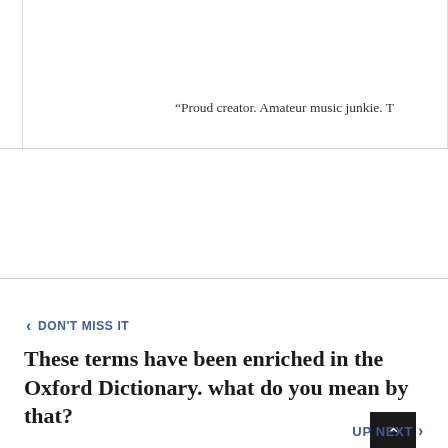“Proud creator. Amateur music junkie. T
< DON'T MISS IT
These terms have been enriched in the Oxford Dictionary. what do you mean by that?
UP NEXT >